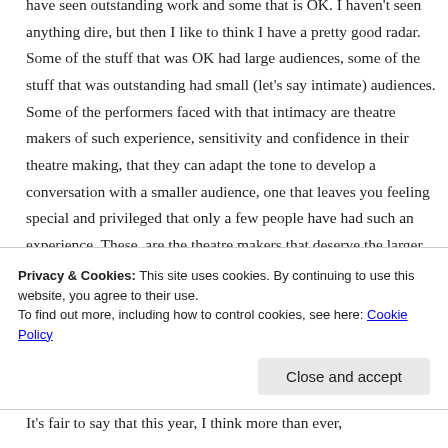have seen outstanding work and some that is OK. I haven't seen anything dire, but then I like to think I have a pretty good radar. Some of the stuff that was OK had large audiences, some of the stuff that was outstanding had small (let's say intimate) audiences. Some of the performers faced with that intimacy are theatre makers of such experience, sensitivity and confidence in their theatre making, that they can adapt the tone to develop a conversation with a smaller audience, one that leaves you feeling special and privileged that only a few people have had such an experience. These  are the theatre makers that deserve the larger audiences. But while that's nifty for
Privacy & Cookies: This site uses cookies. By continuing to use this website, you agree to their use.
To find out more, including how to control cookies, see here: Cookie Policy
Close and accept
It's fair to say that this year, I think more than ever,